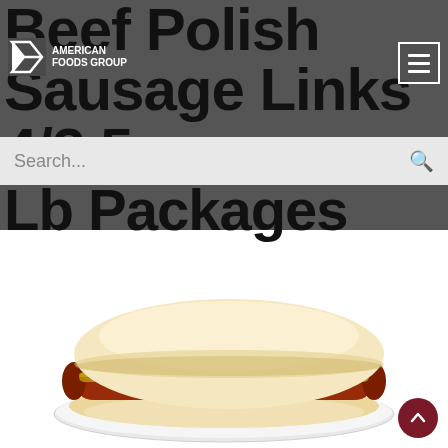American Foods Group
Beef Polish Sausage Links 4/2.5 Lb Packages
[Figure (photo): A beef polish sausage link with mustard in a hoagie bun on a white plate, product photo on white background]
[Figure (logo): American Foods Group logo - white star/arrow mark with text AMERICAN FOODS GROUP]